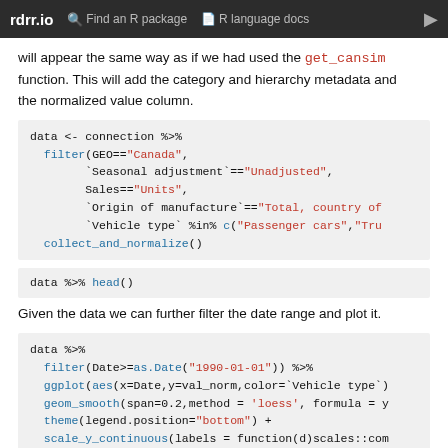rdrr.io   Find an R package   R language docs
will appear the same way as if we had used the get_cansim function. This will add the category and hierarchy metadata and the normalized value column.
Given the data we can further filter the date range and plot it.